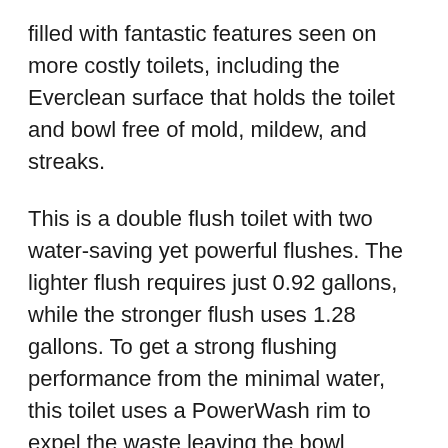filled with fantastic features seen on more costly toilets, including the Everclean surface that holds the toilet and bowl free of mold, mildew, and streaks.
This is a double flush toilet with two water-saving yet powerful flushes. The lighter flush requires just 0.92 gallons, while the stronger flush uses 1.28 gallons. To get a strong flushing performance from the minimal water, this toilet uses a PowerWash rim to expel the waste leaving the bowl sparkling clean in just one flush.
The American Standard H2Option toilet is available in two models – a 16-inch circular round model, and an 18-inch elongated model. For tiny bathrooms, circular toilets are preferable because they won't obstruct the entrance. However,